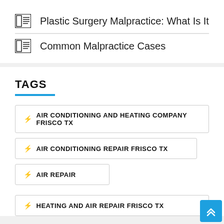Plastic Surgery Malpractice: What Is It
Common Malpractice Cases
TAGS
AIR CONDITIONING AND HEATING COMPANY FRISCO TX
AIR CONDITIONING REPAIR FRISCO TX
AIR REPAIR
HEATING AND AIR REPAIR FRISCO TX